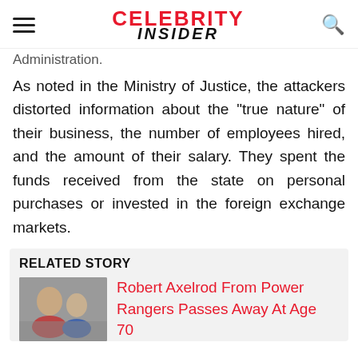CELEBRITY INSIDER
Administration.
As noted in the Ministry of Justice, the attackers distorted information about the "true nature" of their business, the number of employees hired, and the amount of their salary. They spent the funds received from the state on personal purchases or invested in the foreign exchange markets.
RELATED STORY
[Figure (photo): Photo of two people, appears to be a selfie]
Robert Axelrod From Power Rangers Passes Away At Age 70